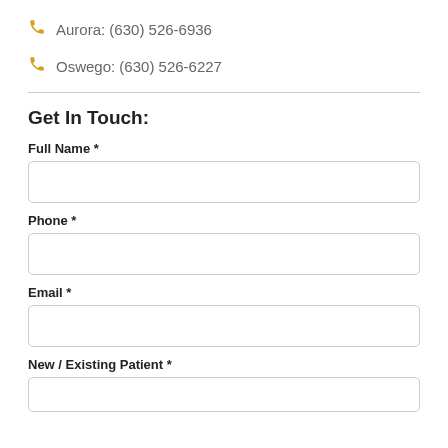Aurora: (630) 526-6936
Oswego: (630) 526-6227
Get In Touch:
Full Name *
Phone *
Email *
New / Existing Patient *